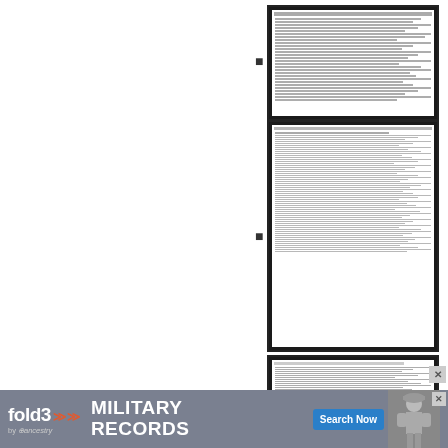[Document thumbnail 1 - historical census/military record]
[Document thumbnail 2 - historical census/military record]
[Document thumbnail 3 - historical census/military record]
[Document thumbnail 4 - historical census/military record]
[Document thumbnail 5 - historical census/military record, partially visible]
[Figure (screenshot): Fold3 by Ancestry advertisement banner for Military Records with Search Now button and soldier photograph]